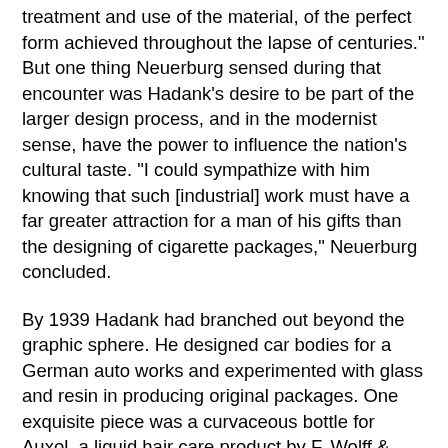treatment and use of the material, of the perfect form achieved throughout the lapse of centuries." But one thing Neuerburg sensed during that encounter was Hadank's desire to be part of the larger design process, and in the modernist sense, have the power to influence the nation's cultural taste. "I could sympathize with him knowing that such [industrial] work must have a far greater attraction for a man of his gifts than the designing of cigarette packages," Neuerburg concluded.
By 1939 Hadank had branched out beyond the graphic sphere. He designed car bodies for a German auto works and experimented with glass and resin in producing original packages. One exquisite piece was a curvaceous bottle for Auxol, a liquid hair care product by F. Wolff & Sohn, that was so novel Hadank was permitted to include his own logo on the front of the box in which the bottle was sold (and not even Rand, who signed every piece of his printed design,